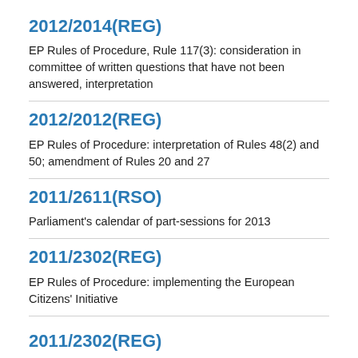2012/2014(REG)
EP Rules of Procedure, Rule 117(3): consideration in committee of written questions that have not been answered, interpretation
2012/2012(REG)
EP Rules of Procedure: interpretation of Rules 48(2) and 50; amendment of Rules 20 and 27
2011/2611(RSO)
Parliament's calendar of part-sessions for 2013
2011/2302(REG)
EP Rules of Procedure: implementing the European Citizens' Initiative
2011/2302(REG)